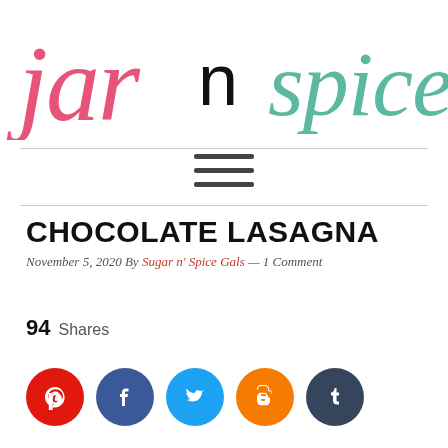jar n spice gals
CHOCOLATE LASAGNA
November 5, 2020 By Sugar n' Spice Gals — 1 Comment
94 Shares
[Figure (infographic): Social share buttons: Pinterest (red), Facebook (dark blue), Twitter (light blue), Blogger (orange), Tumblr (dark slate blue)]